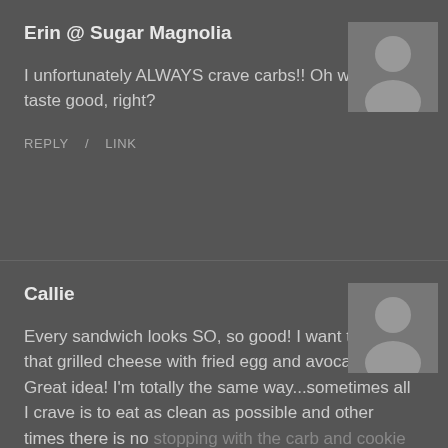Erin @ Sugar Magnolia
I unfortunately ALWAYS crave carbs!! Oh well they taste good, right?
REPLY / LINK
[Figure (illustration): Grey avatar placeholder for user Erin @ Sugar Magnolia]
Callie
Every sandwich looks SO, so good! I want to make that grilled cheese with fried egg and avocado. Great idea! I'm totally the same way...sometimes all I crave is to eat as clean as possible and other times there is no stopping with the carb and cookie cravings...it truly all does balance out!
[Figure (illustration): Grey avatar placeholder for user Callie]